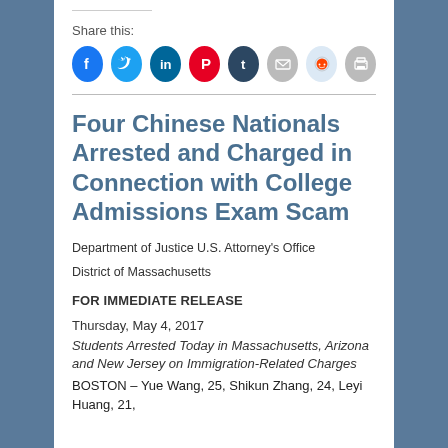Share this:
[Figure (other): Social sharing icons: Facebook, Twitter, LinkedIn, Pinterest, Tumblr, Email, Reddit, Print]
Four Chinese Nationals Arrested and Charged in Connection with College Admissions Exam Scam
Department of Justice U.S. Attorney’s Office
District of Massachusetts
FOR IMMEDIATE RELEASE
Thursday, May 4, 2017
Students Arrested Today in Massachusetts, Arizona and New Jersey on Immigration-Related Charges
BOSTON – Yue Wang, 25, Shikun Zhang, 24, Leyi Huang, 21,